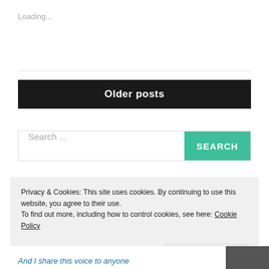Loading...
Older posts
Search ...
SEARCH
Privacy & Cookies: This site uses cookies. By continuing to use this website, you agree to their use.
To find out more, including how to control cookies, see here: Cookie Policy
Close and accept
And I share this voice to anyone